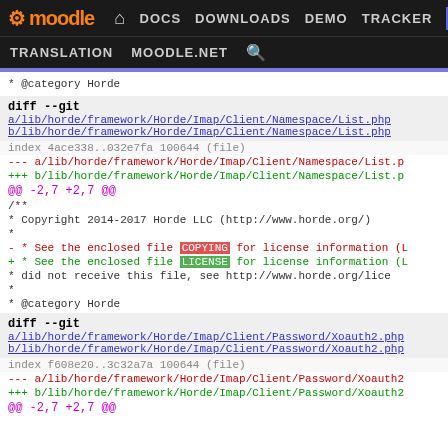moodle DOCS DOWNLOADS DEMO TRACKER DEV TRANSLATION MOODLE.NET
* @category  Horde
diff --git a/lib/horde/framework/Horde/Imap/Client/Namespace/List.php b/lib/horde/framework/Horde/Imap/Client/Namespace/List.php
index 4ace338..032e7fa 100644 (file)
--- a/lib/horde/framework/Horde/Imap/Client/Namespace/List.p
+++ b/lib/horde/framework/Horde/Imap/Client/Namespace/List.p
@@ -2,7 +2,7 @@
/**
  * Copyright 2014-2017 Horde LLC (http://www.horde.org/)
  *
- * See the enclosed file COPYING for license information (L
+ * See the enclosed file LICENSE for license information (L
  * did not receive this file, see http://www.horde.org/lice
  *
  * @category  Horde
diff --git a/lib/horde/framework/Horde/Imap/Client/Password/Xoauth2.php b/lib/horde/framework/Horde/Imap/Client/Password/Xoauth2.php
index f608e20..3c32a7a 100644 (file)
--- a/lib/horde/framework/Horde/Imap/Client/Password/Xoauth2
+++ b/lib/horde/framework/Horde/Imap/Client/Password/Xoauth2
@@ -2,7 +2,7 @@